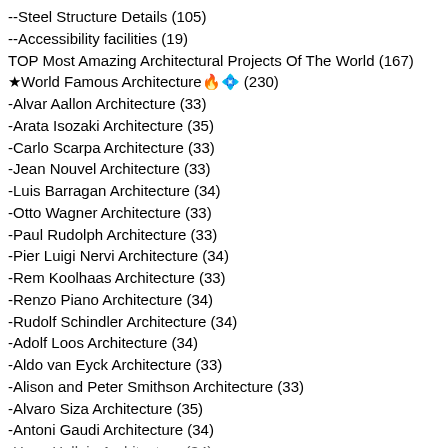--Steel Structure Details (105)
--Accessibility facilities (19)
TOP Most Amazing Architectural Projects Of The World (167)
★World Famous Architecture🔥💎 (230)
-Alvar Aallon Architecture (33)
-Arata Isozaki Architecture (35)
-Carlo Scarpa Architecture (33)
-Jean Nouvel Architecture (33)
-Luis Barragan Architecture (34)
-Otto Wagner Architecture (33)
-Paul Rudolph Architecture (33)
-Pier Luigi Nervi Architecture (34)
-Rem Koolhaas Architecture (33)
-Renzo Piano Architecture (34)
-Rudolf Schindler Architecture (34)
-Adolf Loos Architecture (34)
-Aldo van Eyck Architecture (33)
-Alison and Peter Smithson Architecture (33)
-Alvaro Siza Architecture (35)
-Antoni Gaudi Architecture (34)
-Hans Hollein Architecture (34)